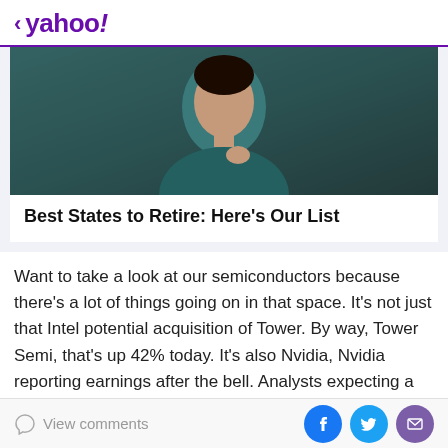< yahoo!
[Figure (photo): Headshot of a woman wearing a teal top, against a dark background]
Best States to Retire: Here's Our List
Want to take a look at our semiconductors because there's a lot of things going on in that space. It's not just that Intel potential acquisition of Tower. By way, Tower Semi, that's up 42% today. It's also Nvidia, Nvidia reporting earnings after the bell. Analysts expecting a big
View comments